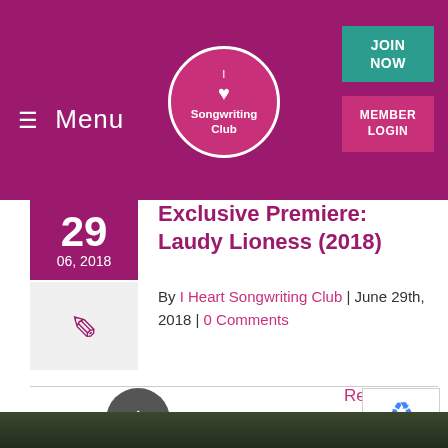Menu | I Heart Songwriting Club | JOIN NOW | MEMBER LOGIN
Exclusive Premiere: Laudy Lioness (2018)
By I Heart Songwriting Club | June 29th, 2018 | 0 Comments
Exclusive Premiere: Laudy Lioness (2018) Mark Rosenberg 29 June 2018
Read More
[Figure (photo): Dark trees silhouette at bottom of page]